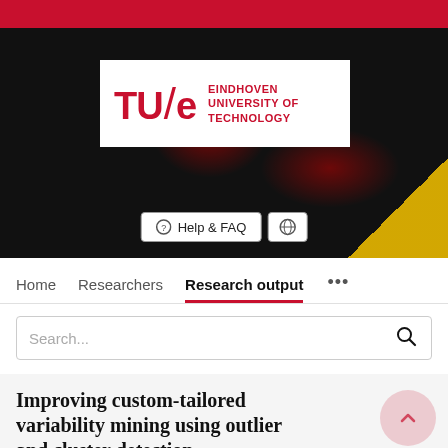[Figure (logo): TU/e Eindhoven University of Technology logo on dark hero banner background]
Help & FAQ
Home   Researchers   Research output   ...
Search...
Improving custom-tailored variability mining using outlier and cluster detection